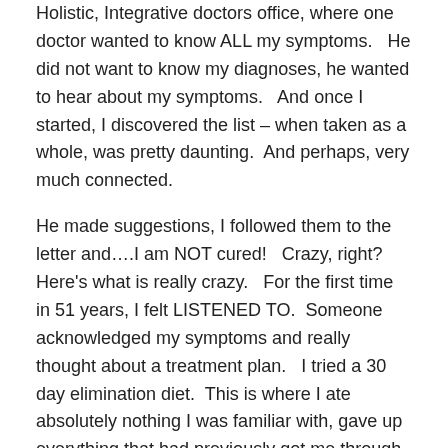Holistic, Integrative doctors office, where one doctor wanted to know ALL my symptoms.   He did not want to know my diagnoses, he wanted to hear about my symptoms.   And once I started, I discovered the list – when taken as a whole, was pretty daunting.  And perhaps, very much connected.
He made suggestions, I followed them to the letter and….I am NOT cured!   Crazy, right?  Here's what is really crazy.   For the first time in 51 years, I felt LISTENED TO.  Someone acknowledged my symptoms and really thought about a treatment plan.   I tried a 30 day elimination diet.  This is where I ate absolutely nothing I was familiar with, gave up everything that had previously got me through the day and tried a brand new way of preparing food, all at once.